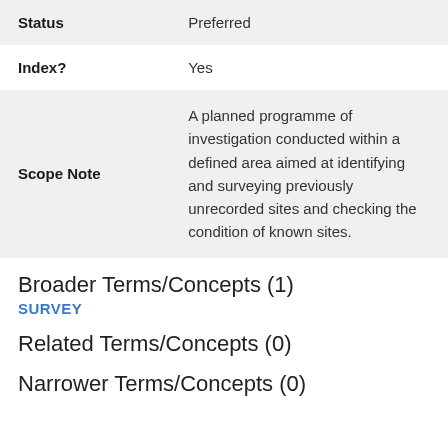| Field | Value |
| --- | --- |
| Status | Preferred |
| Index? | Yes |
| Scope Note | A planned programme of investigation conducted within a defined area aimed at identifying and surveying previously unrecorded sites and checking the condition of known sites. |
Broader Terms/Concepts (1)
SURVEY
Related Terms/Concepts (0)
Narrower Terms/Concepts (0)